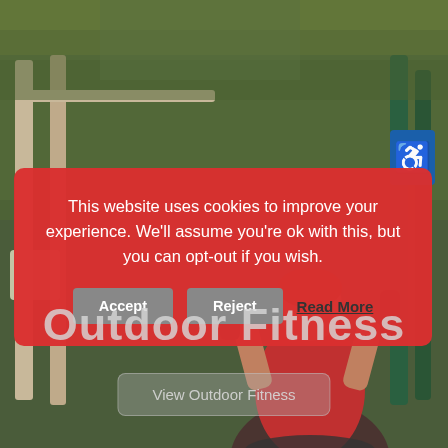[Figure (photo): Person using outdoor fitness equipment at a park. Green trees and fitness machines visible in background. Person wearing a red top.]
This website uses cookies to improve your experience. We'll assume you're ok with this, but you can opt-out if you wish.
Accept   Reject   Read More
Outdoor Fitness
View Outdoor Fitness